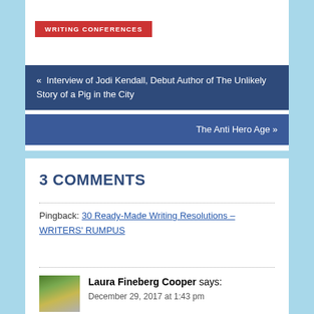WRITING CONFERENCES
« Interview of Jodi Kendall, Debut Author of The Unlikely Story of a Pig in the City
The Anti Hero Age »
3 COMMENTS
Pingback: 30 Ready-Made Writing Resolutions – WRITERS' RUMPUS
Laura Fineberg Cooper says:
December 29, 2017 at 1:43 pm